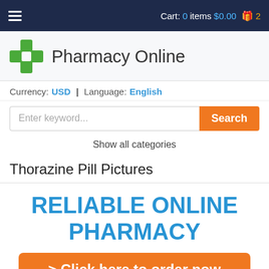Cart: 0 items $0.00 2
[Figure (logo): Green cross pharmacy logo with text Pharmacy Online]
Currency: USD | Language: English
Enter keyword... Search
Show all categories
Thorazine Pill Pictures
RELIABLE ONLINE PHARMACY
> Click here to order now